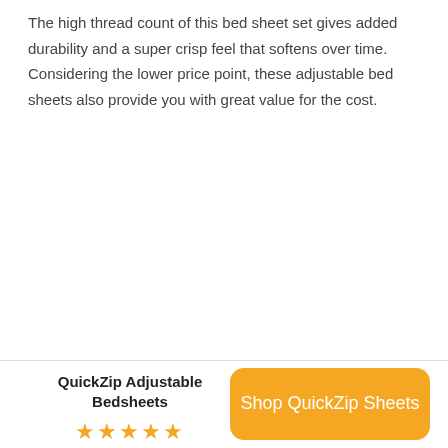The high thread count of this bed sheet set gives added durability and a super crisp feel that softens over time. Considering the lower price point, these adjustable bed sheets also provide you with great value for the cost.
QuickZip Adjustable Bedsheets ★★★★★
Shop QuickZip Sheets